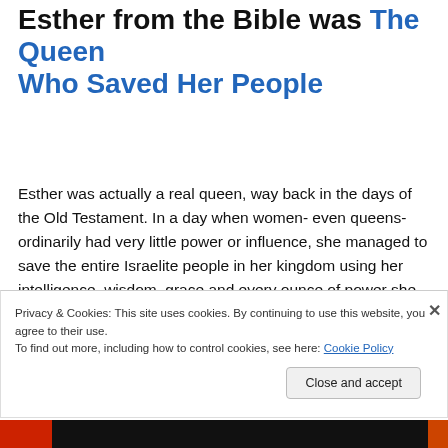Esther from the Bible was The Queen Who Saved Her People
Esther was actually a real queen, way back in the days of the Old Testament. In a day when women- even queens- ordinarily had very little power or influence, she managed to save the entire Israelite people in her kingdom using her intelligence, wisdom, grace and every ounce of power she had. She accomplished amazing things, especially considering the time she was living in. She was definitely a
Privacy & Cookies: This site uses cookies. By continuing to use this website, you agree to their use.
To find out more, including how to control cookies, see here: Cookie Policy